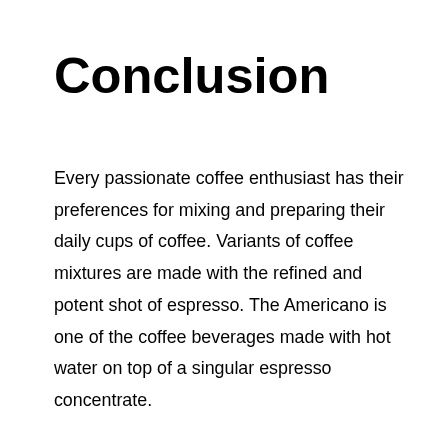Conclusion
Every passionate coffee enthusiast has their preferences for mixing and preparing their daily cups of coffee. Variants of coffee mixtures are made with the refined and potent shot of espresso. The Americano is one of the coffee beverages made with hot water on top of a singular espresso concentrate.
This website uses cookies to improve your experience. We'll assume you're ok with this, but you can opt-out if you wish.
[Figure (screenshot): Advertisement banner with play button, X button, store logo, checkmarks for In-store shopping, Curbside pickup, Delivery, a blue navigation arrow icon, and a close button.]